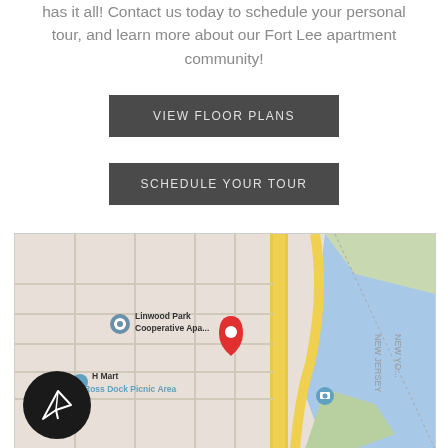has it all! Contact us today to schedule your personal tour, and learn more about our Fort Lee apartment community!
VIEW FLOOR PLANS
SCHEDULE YOUR TOUR
[Figure (map): Google Maps screenshot showing Fort Lee, NJ area with a red location pin marker. Labels visible include Linwood Park Cooperative Apartments, H Mart, Ross Dock Picnic Area, and a waterway with New Jersey / New York border annotation.]